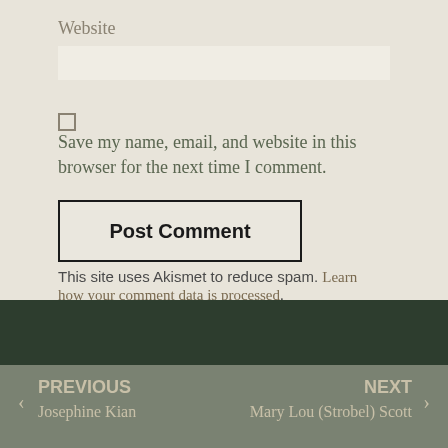Website
Save my name, email, and website in this browser for the next time I comment.
Post Comment
This site uses Akismet to reduce spam. Learn how your comment data is processed.
PREVIOUS Josephine Kian | NEXT Mary Lou (Strobel) Scott